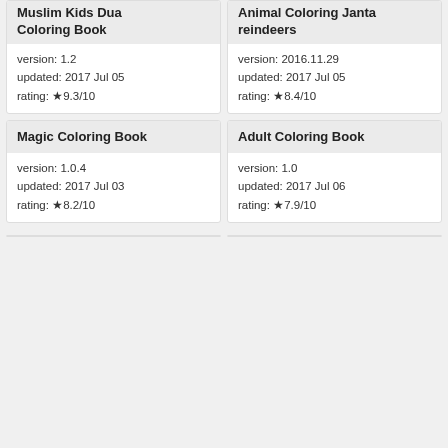Muslim Kids Dua Coloring Book
version: 1.2
updated: 2017 Jul 05
rating: ★9.3/10
Animal Coloring Janta reindeers
version: 2016.11.29
updated: 2017 Jul 05
rating: ★8.4/10
[Figure (photo): Gray placeholder image for Magic Coloring Book]
Magic Coloring Book
version: 1.0.4
updated: 2017 Jul 03
rating: ★8.2/10
[Figure (photo): Gray placeholder image for Adult Coloring Book]
Adult Coloring Book
version: 1.0
updated: 2017 Jul 06
rating: ★7.9/10
[Figure (photo): Gray placeholder image, bottom left card]
[Figure (photo): Gray placeholder image, bottom right card]